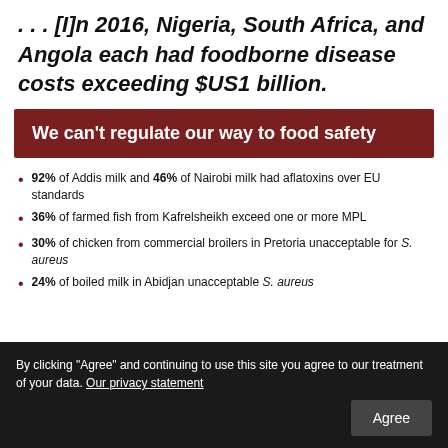. . . [I]n 2016, Nigeria, South Africa, and Angola each had foodborne disease costs exceeding $US1 billion.
We can't regulate our way to food safety
92% of Addis milk and 46% of Nairobi milk had aflatoxins over EU standards
36% of farmed fish from Kafrelsheikh exceed one or more MPL
30% of chicken from commercial broilers in Pretoria unacceptable for S. aureus
24% of boiled milk in Abidjan unacceptable S. aureus
By clicking "Agree" and continuing to use this site you agree to our treatment of your data. Our privacy statement